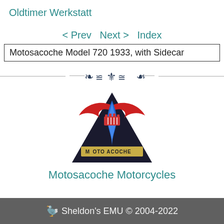Oldtimer Werkstatt
< Prev Next > Index
Motosacoche Model 720 1933, with Sidecar
[Figure (illustration): Decorative ornamental divider with scrollwork and fleur-de-lis motif in dark navy blue]
[Figure (logo): Motosacoche Motorcycles logo: a dark triangular shape with red devil/dragon wings and blue flame, and text MOTO ACOCHE across the middle]
Motosacoche Motorcycles
🦤 Sheldon's EMU © 2004-2022